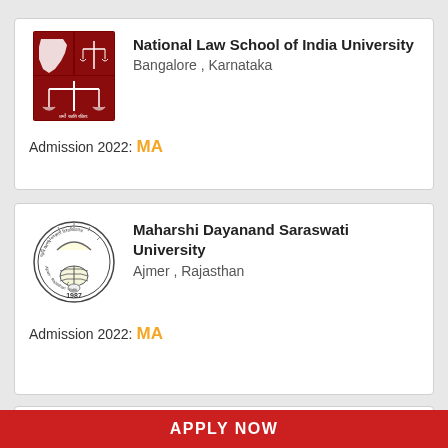[Figure (logo): National Law School of India University logo — dark red/maroon square logo with scales of justice and India map]
National Law School of India University
Bangalore , Karnataka
Admission 2022: MA
[Figure (logo): Maharshi Dayanand Saraswati University circular seal logo, black and white, 1987]
Maharshi Dayanand Saraswati University
Ajmer , Rajasthan
Admission 2022: MA
Vikram Singh...i University (partial, cut off)
APPLY NOW